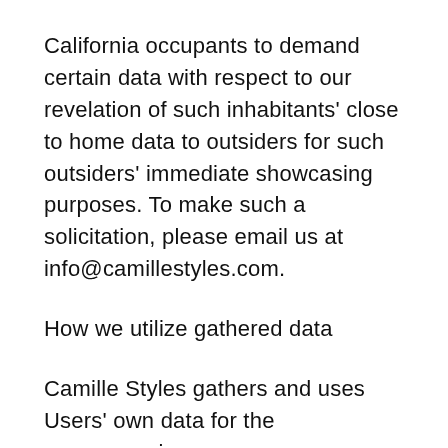California occupants to demand certain data with respect to our revelation of such inhabitants' close to home data to outsiders for such outsiders' immediate showcasing purposes. To make such a solicitation, please email us at info@camillestyles.com.
How we utilize gathered data
Camille Styles gathers and uses Users' own data for the accompanying purposes:
To customize and improve client experience
We may utilize data to more readily react to your individual needs and alter your